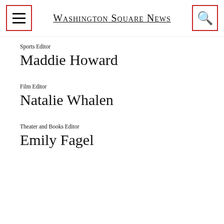Washington Square News
Sports Editor
Maddie Howard
Film Editor
Natalie Whalen
Theater and Books Editor
Emily Fagel